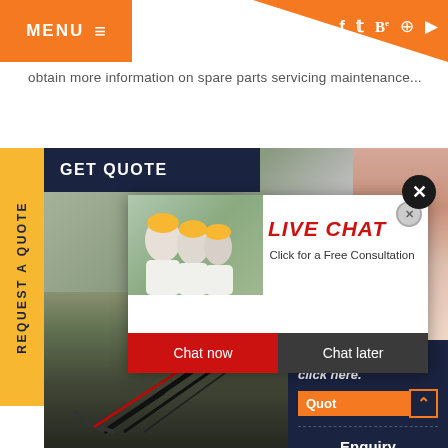MENU  ≡  [social icons: f, twitter, Be, pinterest, youtube]
obtain more information on spare parts servicing maintenance...
GET QUOTE
REQUEST A QUOTE
[Figure (screenshot): Live Chat popup overlay on construction/mining website. Shows workers in yellow hard hats, 'LIVE CHAT' in red italic text, 'Click for a Free Consultation', 'Chat now' red button and 'Chat later' dark button. Background shows female customer service agent with headset and heavy mining equipment.]
LIVE CHAT
Click for a Free Consultation
Chat now
Chat later
Have any requests, click here.
Quot
Enquiry
drobilkalm